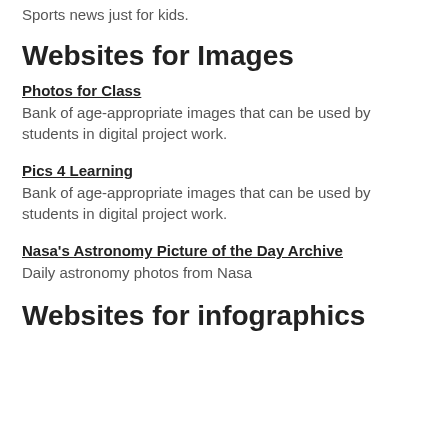Sports news just for kids.
Websites for Images
Photos for Class
Bank of age-appropriate images that can be used by students in digital project work.
Pics 4 Learning
Bank of age-appropriate images that can be used by students in digital project work.
Nasa's Astronomy Picture of the Day Archive
Daily astronomy photos from Nasa
Websites for infographics